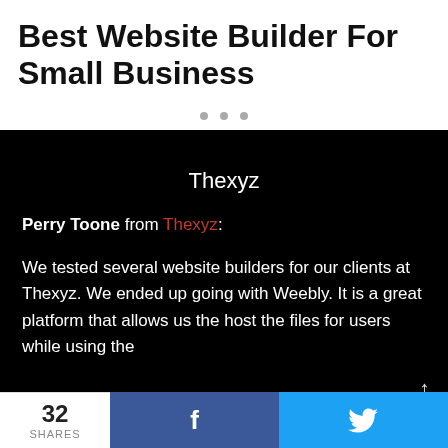Best Website Builder For Small Business
[Figure (other): Three grey dots indicating a slideshow or carousel navigation]
[Figure (screenshot): Black panel screenshot showing Thexyz website builder review with quote from Perry Toone of Thexyz about testing website builders and choosing Weebly]
Perry Toone from Thexyz: We tested several website builders for our clients at Thexyz. We ended up going with Weebly. It is a great platform that allows us the host the files for users while using the
32 SHARES  f  (Twitter bird icon)